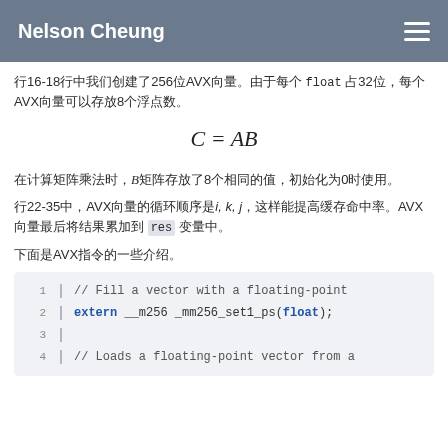Nelson Cheung
行16-18行中我们创建了256位AVX向量。由于每个 float 占32位，每个AVX向量可以存放8个浮点数。
在计算矩阵乘法时，B矩阵存放了8个相同的值，初始化为0时使用。
行22-35中，AVX向量的循环顺序是i, k, j，这样能提高缓存命中率。AVX向量最后将结果累加到 res 变量中。
下面是AVX指令的一些介绍。
[Figure (screenshot): Code block showing AVX intrinsics: line 1: // Fill a vector with a floating-point, line 2: extern __m256 _mm256_set1_ps(float);, line 3: (empty), line 4: // Loads a floating-point vector from a]